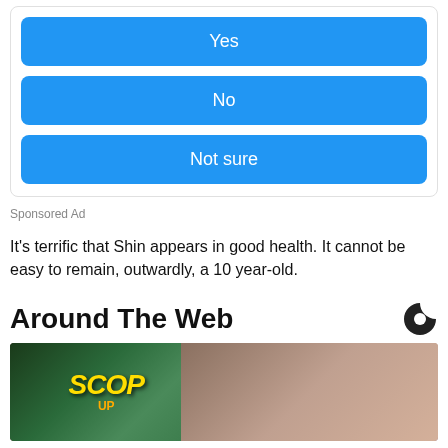[Figure (other): Poll widget with three blue buttons: Yes, No, Not sure]
Sponsored Ad
It's terrific that Shin appears in good health. It cannot be easy to remain, outwardly, a 10 year-old.
Around The Web
[Figure (photo): Thumbnail image showing a person with dark hair on right side and a colorful game graphic with text SCOP on the left side]